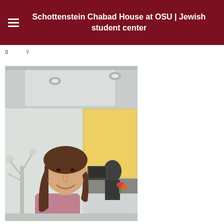Schottenstein Chabad House at OSU | Jewish student center
g y
[Figure (photo): A young woman with long brown hair smiling at the camera, taken inside what appears to be an office or lobby area with a decorative tree mural on the wall and a yellow/gold illuminated panel in the background. Another person is visible in the background.]